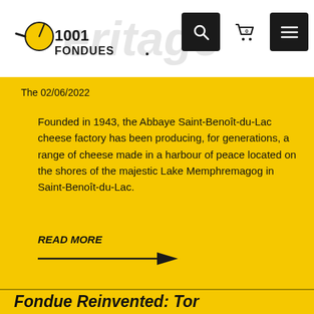1001 Fondues — heritage craftsmanship
The 02/06/2022
Founded in 1943, the Abbaye Saint-Benoît-du-Lac cheese factory has been producing, for generations, a range of cheese made in a harbour of peace located on the shores of the majestic Lake Memphremagog in Saint-Benoît-du-Lac.
READ MORE →
Fondue Reinvented: Tor